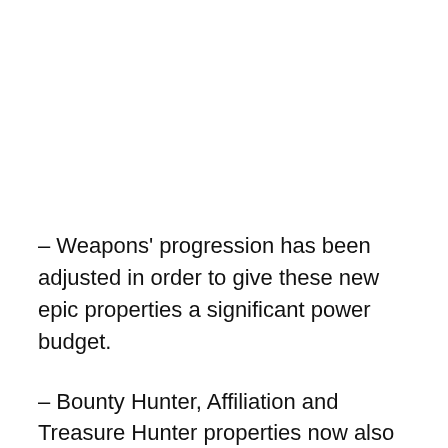– Weapons' progression has been adjusted in order to give these new epic properties a significant power budget.
– Bounty Hunter, Affiliation and Treasure Hunter properties now also progressively increase the Radar's detection range.